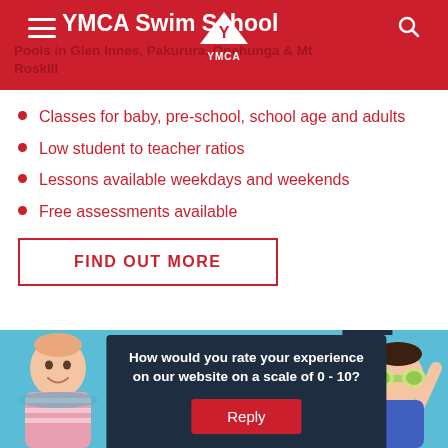YMCA Swim School
YMCA Swim School
Pools in Glen Innes, Pakurura, Onehunga & Mt Roskill
Classes for baby, pre-school, school age and adults
Low student to teacher ratios
Lessons available weekdays and weekends
Free assessments available
FIND OUT MORE
How would you rate your experience on our website on a scale of 0 - 10?
Reply
[Figure (photo): Children swimming in a pool, a baby/toddler on the left smiling, and a child with goggles on the right]